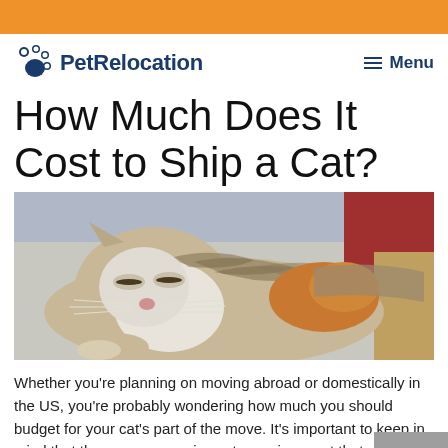How Much Does It Cost to Ship a Cat?
[Figure (photo): A calico/tabby cat lying down with eyes half-closed, resting on a light surface with a red object visible in the background.]
Whether you're planning on moving abroad or domestically in the US, you're probably wondering how much you should budget for your cat's part of the move. It's important to keep in mind that there are many pieces to moving a cat that determines the costs.